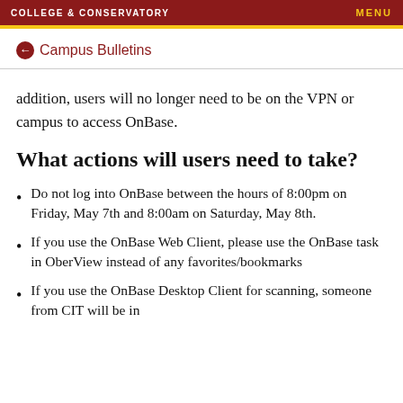COLLEGE & CONSERVATORY   MENU
← Campus Bulletins
addition, users will no longer need to be on the VPN or campus to access OnBase.
What actions will users need to take?
Do not log into OnBase between the hours of 8:00pm on Friday, May 7th and 8:00am on Saturday, May 8th.
If you use the OnBase Web Client, please use the OnBase task in OberView instead of any favorites/bookmarks
If you use the OnBase Desktop Client for scanning, someone from CIT will be in